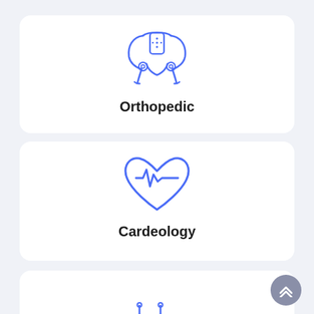[Figure (illustration): Blue line-art icon of a pelvis/hip bone structure]
Orthopedic
[Figure (illustration): Blue line-art icon of a heart with ECG/heartbeat line]
Cardeology
[Figure (illustration): Blue line-art icon of a stethoscope]
[Figure (illustration): Dark grey circular button with double up-chevron arrow]